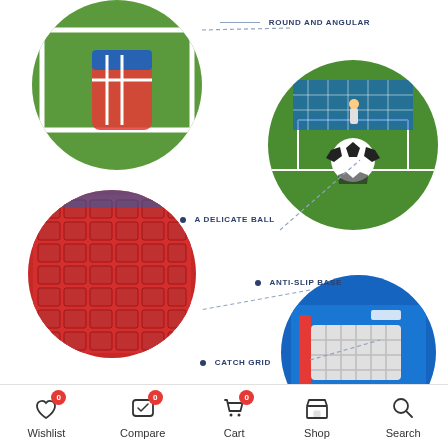[Figure (photo): Product detail infographic showing four circular close-up photos of a toy soccer/football goal set. Top-left circle: close-up of round and angular connection joints (red, white, blue plastic). Top-right circle: soccer ball on green turf field. Middle-left circle: red anti-slip base grid pattern. Bottom-right circle: catch grid mechanism. Feature labels: ROUND AND ANGULAR, A DELICATE BALL, ANTI-SLIP BASE, CATCH GRID. Diagonal dashed arrow lines connect labels to images.]
Wishlist 0  Compare 0  Cart 0  Shop  Search